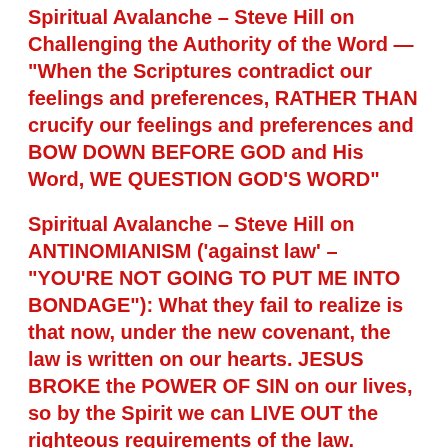Spiritual Avalanche – Steve Hill on Challenging the Authority of the Word — "When the Scriptures contradict our feelings and preferences, RATHER THAN crucify our feelings and preferences and BOW DOWN BEFORE GOD and His Word, WE QUESTION GOD'S WORD"
Spiritual Avalanche – Steve Hill on ANTINOMIANISM ('against law' – "YOU'RE NOT GOING TO PUT ME INTO BONDAGE"): What they fail to realize is that now, under the new covenant, the law is written on our hearts. JESUS BROKE the POWER OF SIN on our lives, so by the Spirit we can LIVE OUT the righteous requirements of the law. "Adultery refers to ADULTERY OF THE HEART and not just the physical act." "Sin will love